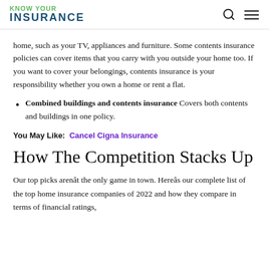KNOW YOUR INSURANCE
home, such as your TV, appliances and furniture. Some contents insurance policies can cover items that you carry with you outside your home too. If you want to cover your belongings, contents insurance is your responsibility whether you own a home or rent a flat.
Combined buildings and contents insurance Covers both contents and buildings in one policy.
You May Like: Cancel Cigna Insurance
How The Competition Stacks Up
Our top picks arenât the only game in town. Hereâs our complete list of the top home insurance companies of 2022 and how they compare in terms of financial ratings,